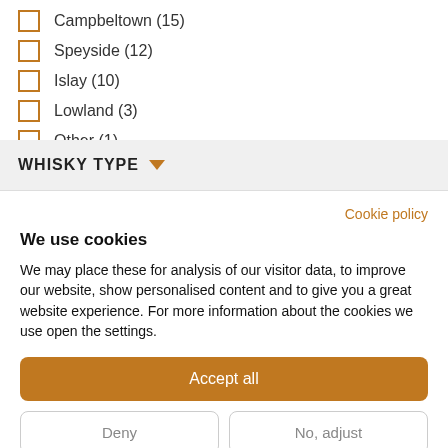Campbeltown (15)
Speyside (12)
Islay (10)
Lowland (3)
Other (1)
WHISKY TYPE
Cookie policy
We use cookies
We may place these for analysis of our visitor data, to improve our website, show personalised content and to give you a great website experience. For more information about the cookies we use open the settings.
Accept all
Deny
No, adjust